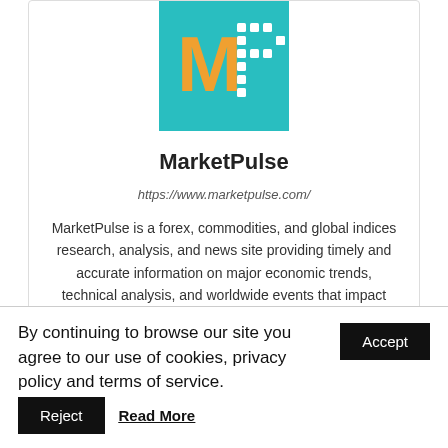[Figure (logo): MarketPulse logo: teal/turquoise square background with orange letter M and white dotted letter P]
MarketPulse
https://www.marketpulse.com/
MarketPulse is a forex, commodities, and global indices research, analysis, and news site providing timely and accurate information on major economic trends, technical analysis, and worldwide events that impact different asset classes and investors. This article is for general information purposes only. It is not investment advice or a solution to buy or sell securities.
By continuing to browse our site you agree to our use of cookies, privacy policy and terms of service.